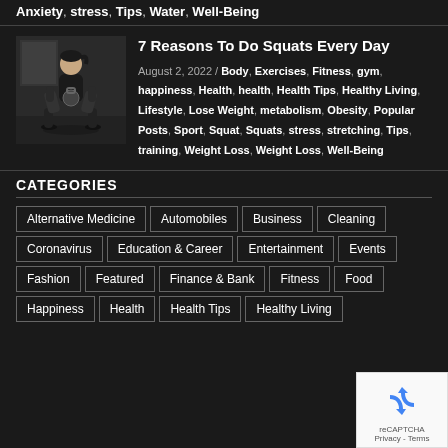Anxiety, stress, Tips, Water, Well-Being
7 Reasons To Do Squats Every Day
August 2, 2022 / Body, Exercises, Fitness, gym, happiness, Health, health, Health Tips, Healthy Living, Lifestyle, Lose Weight, metabolism, Obesity, Popular Posts, Sport, Squat, Squats, stress, stretching, Tips, training, Weight Loss, Weight Loss, Well-Being
CATEGORIES
Alternative Medicine
Automobiles
Business
Cleaning
Coronavirus
Education & Career
Entertainment
Events
Fashion
Featured
Finance & Bank
Fitness
Food
Happiness
Health
Health Tips
Healthy Living